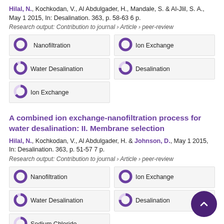Hilal, N., Kochkodan, V., Al Abdulgader, H., Mandale, S. & Al-Jlil, S. A., May 1 2015, In: Desalination. 363, p. 58-63 6 p.
Research output: Contribution to journal › Article › peer-review
[Figure (infographic): Five keyword badges with donut chart icons in a 2-column grid: Nanofiltration (100%), Ion Exchange (100%), Water Desalination (~90%), Desalination (~75%), Ion Exchange (~65%)]
A combined ion exchange-nanofiltration process for water desalination: II. Membrane selection
Hilal, N., Kochkodan, V., Al Abdulgader, H. & Johnson, D., May 1 2015, In: Desalination. 363, p. 51-57 7 p.
Research output: Contribution to journal › Article › peer-review
[Figure (infographic): Five keyword badges with donut chart icons in a 2-column grid: Nanofiltration (100%), Ion Exchange (100%), Water Desalination (~90%), Desalination (~75%), Sodium Chloride (~65%)]